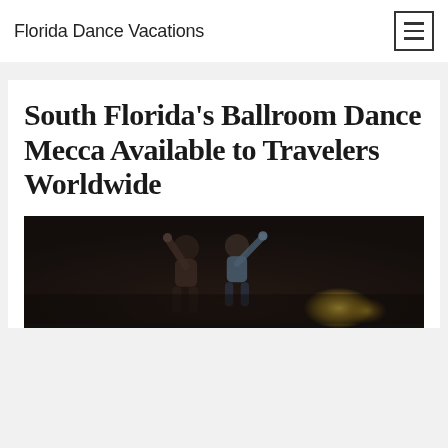Florida Dance Vacations
South Florida's Ballroom Dance Mecca Available to Travelers Worldwide
[Figure (photo): Photo of dancers on a dark dance floor with warm ambient lighting and a golden glow in the background]